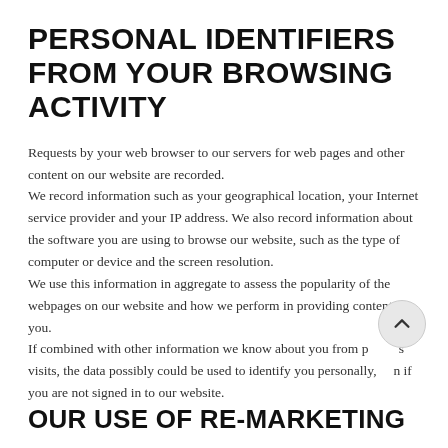PERSONAL IDENTIFIERS FROM YOUR BROWSING ACTIVITY
Requests by your web browser to our servers for web pages and other content on our website are recorded. We record information such as your geographical location, your Internet service provider and your IP address. We also record information about the software you are using to browse our website, such as the type of computer or device and the screen resolution. We use this information in aggregate to assess the popularity of the webpages on our website and how we perform in providing content to you. If combined with other information we know about you from previous visits, the data possibly could be used to identify you personally, even if you are not signed in to our website.
OUR USE OF RE-MARKETING